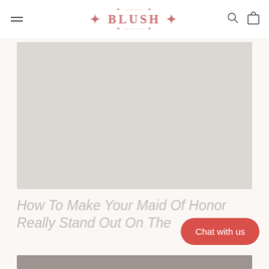BLUSH
[Figure (photo): Large light gray placeholder image for article hero photo]
How To Make Your Maid Of Honor Really Stand Out On The
[Figure (photo): Bottom partial image strip, gray-brown color]